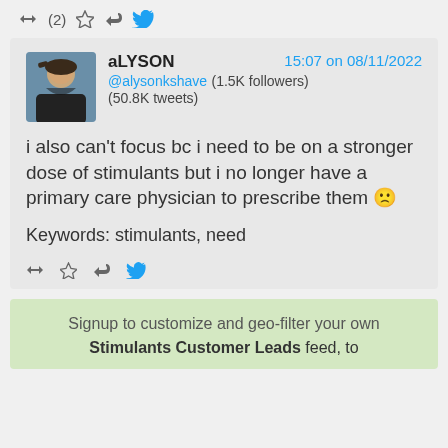↻ (2) ☆ ↩ 🐦
aLYSON  15:07 on 08/11/2022  @alysonkshave (1.5K followers) (50.8K tweets)
i also can't focus bc i need to be on a stronger dose of stimulants but i no longer have a primary care physician to prescribe them 🙁
Keywords: stimulants, need
↻ ☆ ↩ 🐦
Signup to customize and geo-filter your own Stimulants Customer Leads feed, to